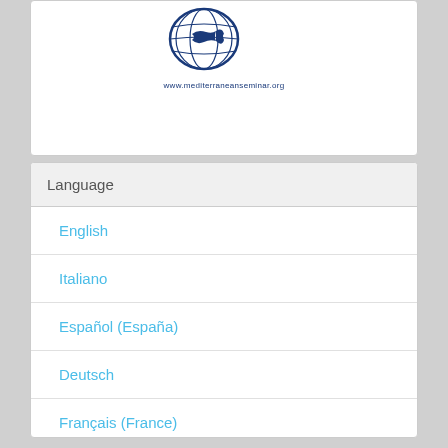[Figure (logo): Mediterranean Seminar globe logo with fish and www.mediterraneanseminar.org URL text]
Language
English
Italiano
Español (España)
Deutsch
Français (France)